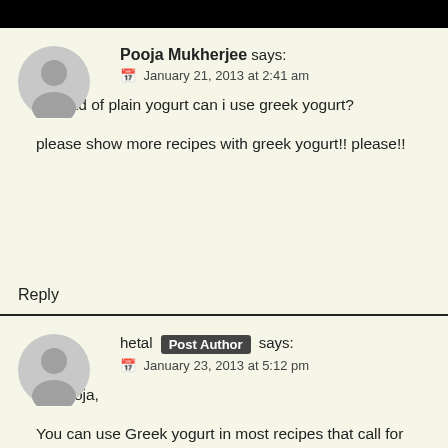[Figure (other): Gray user avatar silhouette for Pooja Mukherjee]
Pooja Mukherjee says:
📅 January 21, 2013 at 2:41 am
Instead of plain yogurt can i use greek yogurt?
please show more recipes with greek yogurt!! please!!
Reply
[Figure (other): Gray user avatar silhouette for hetal]
hetal Post Author says:
📅 January 23, 2013 at 5:12 pm
Hi Pooja,
You can use Greek yogurt in most recipes that call for regular yogurt. The only difference is that Greek yogurt is much thicker because the whey has been strained out.